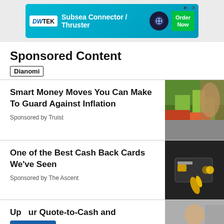[Figure (other): Advertisement banner: DWTEK Subsea Connector / Thruster with Order Now button]
Sponsored Content
Dianomi
Smart Money Moves You Can Make To Guard Against Inflation
Sponsored by Truist
[Figure (photo): Person at a flower/plant market, viewed from behind]
One of the Best Cash Back Cards We've Seen
Sponsored by The Ascent
[Figure (photo): Dark background with a credit card held by a gold hand statue]
Up...ur Quote-to-Cash and
Feedback
[Figure (photo): Person with blonde hair against a background with buildings]